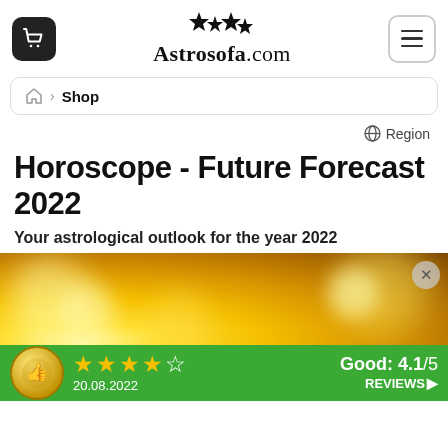Astrosofa.com
Shop
Region
Horoscope - Future Forecast 2022
Your astrological outlook for the year 2022
[Figure (photo): Golden bokeh background image with rating bar showing 4.1/5 stars and review date 20.08.2022]
Good: 4.1/5
20.08.2022
REVIEWS